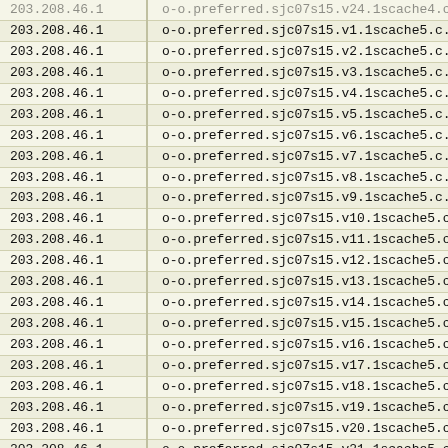| IP | Hostname |
| --- | --- |
| 203.208.46.1 | o-o.preferred.sjc07s15.v24.1scache4.c.youtu |
| 203.208.46.1 | o-o.preferred.sjc07s15.v1.1scache5.c.youtub |
| 203.208.46.1 | o-o.preferred.sjc07s15.v2.1scache5.c.youtub |
| 203.208.46.1 | o-o.preferred.sjc07s15.v3.1scache5.c.youtub |
| 203.208.46.1 | o-o.preferred.sjc07s15.v4.1scache5.c.youtub |
| 203.208.46.1 | o-o.preferred.sjc07s15.v5.1scache5.c.youtub |
| 203.208.46.1 | o-o.preferred.sjc07s15.v6.1scache5.c.youtub |
| 203.208.46.1 | o-o.preferred.sjc07s15.v7.1scache5.c.youtub |
| 203.208.46.1 | o-o.preferred.sjc07s15.v8.1scache5.c.youtub |
| 203.208.46.1 | o-o.preferred.sjc07s15.v9.1scache5.c.youtub |
| 203.208.46.1 | o-o.preferred.sjc07s15.v10.1scache5.c.youtu |
| 203.208.46.1 | o-o.preferred.sjc07s15.v11.1scache5.c.youtu |
| 203.208.46.1 | o-o.preferred.sjc07s15.v12.1scache5.c.youtu |
| 203.208.46.1 | o-o.preferred.sjc07s15.v13.1scache5.c.youtu |
| 203.208.46.1 | o-o.preferred.sjc07s15.v14.1scache5.c.youtu |
| 203.208.46.1 | o-o.preferred.sjc07s15.v15.1scache5.c.youtu |
| 203.208.46.1 | o-o.preferred.sjc07s15.v16.1scache5.c.youtu |
| 203.208.46.1 | o-o.preferred.sjc07s15.v17.1scache5.c.youtu |
| 203.208.46.1 | o-o.preferred.sjc07s15.v18.1scache5.c.youtu |
| 203.208.46.1 | o-o.preferred.sjc07s15.v19.1scache5.c.youtu |
| 203.208.46.1 | o-o.preferred.sjc07s15.v20.1scache5.c.youtu |
| 203.208.46.1 | o-o.preferred.sjc07s15.v21.1scache5.c.youtu |
| 203.208.46.1 | o-o.preferred.sjc07s15.v22.1scache5.c.youtu |
| 203.208.46.1 | o-o.preferred.sjc07s15.v23.1scache5.c.youtu |
| 203.208.46.1 | o-o.preferred.sjc07s15.v24.1scache5.c.youtu |
| 203.208.46.1 | o-o.preferred.sjc07s15.v1.1scache6.c.youtu |